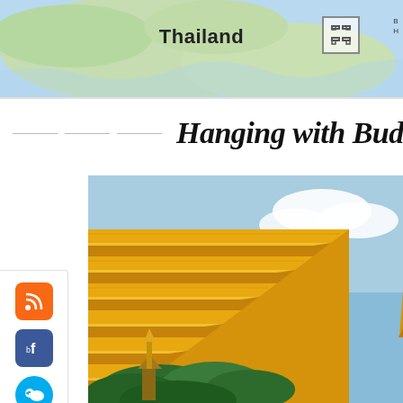[Figure (map): Map of Thailand shown as page header with geographic coloring (blue water, green land)]
Hanging with Bud…
[Figure (photo): Close-up photograph of a golden Buddhist temple/pagoda (chedi) with ornate gold-tiled exterior against a blue sky, with green trees and a spire visible at edges]
[Figure (infographic): Sidebar with social media icons: RSS (orange), Facebook (blue), Twitter (bird), YouTube, Pinterest (red)]